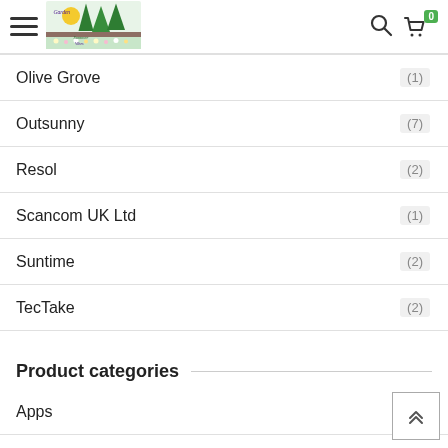Navigation header with hamburger menu, logo, search icon, and cart icon with badge 0
Olive Grove (1)
Outsunny (7)
Resol (2)
Scancom UK Ltd (1)
Suntime (2)
TecTake (2)
Product categories
Apps
BBQ
Children's Corner